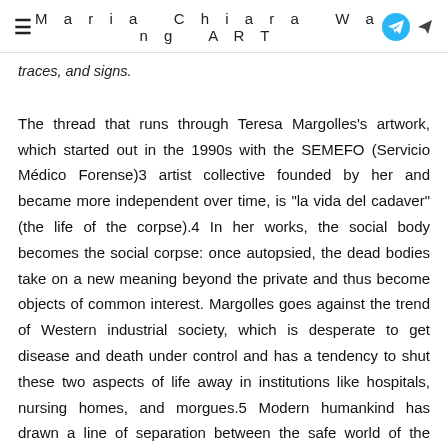Maria Chiara Wang ART
traces, and signs.
The thread that runs through Teresa Margolles's artwork, which started out in the 1990s with the SEMEFO (Servicio Médico Forense)3 artist collective founded by her and became more independent over time, is "la vida del cadaver" (the life of the corpse).4 In her works, the social body becomes the social corpse: once autopsied, the dead bodies take on a new meaning beyond the private and thus become objects of common interest. Margolles goes against the trend of Western industrial society, which is desperate to get disease and death under control and has a tendency to shut these two aspects of life away in institutions like hospitals, nursing homes, and morgues.5 Modern humankind has drawn a line of separation between the safe world of the healthy and that of the sick and dead. It has expelled death from everyday reality because it marks the point at which human control over life reaches its